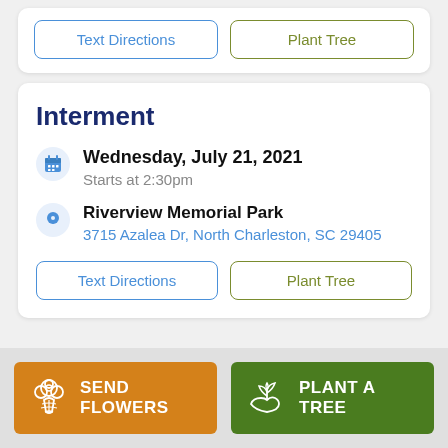Text Directions | Plant Tree
Interment
Wednesday, July 21, 2021
Starts at 2:30pm
Riverview Memorial Park
3715 Azalea Dr, North Charleston, SC 29405
Text Directions | Plant Tree
SEND FLOWERS
PLANT A TREE